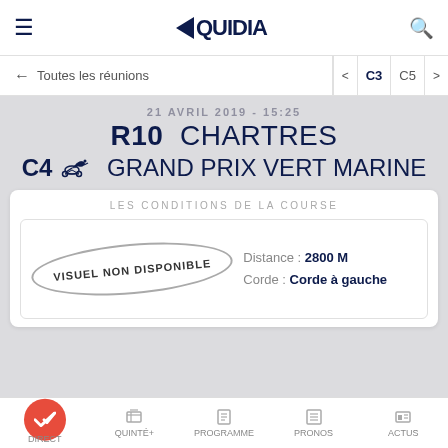EQUIDIA
← Toutes les réunions   < C3  C5 >
21 AVRIL 2019 - 15:25
R10  CHARTRES
C4  GRAND PRIX VERT MARINE
LES CONDITIONS DE LA COURSE
Distance : 2800 M
Corde : Corde à gauche
[Figure (other): Oval stamp: VISUEL NON DISPONIBLE]
DIRECT  QUINTÉ+  PROGRAMME  PRONOS  ACTUS